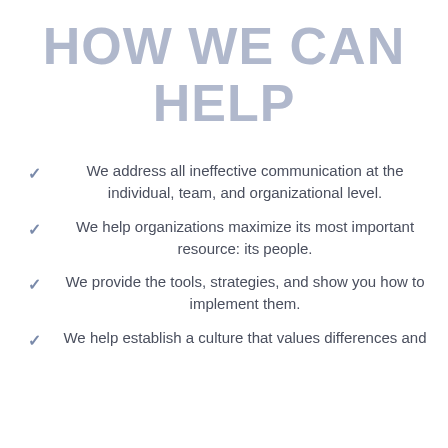HOW WE CAN HELP
We address all ineffective communication at the individual, team, and organizational level.
We help organizations maximize its most important resource: its people.
We provide the tools, strategies, and show you how to implement them.
We help establish a culture that values differences and